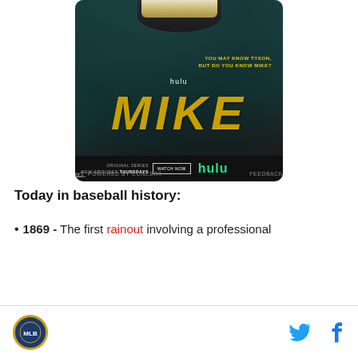[Figure (photo): Hulu advertisement for the show 'MIKE' featuring a person smiling with gold teeth on a teal background. Text reads 'YOU MAY KNOW TYSON, BUT DO YOU KNOW MIKE?' with 'hulu' above and large yellow 'MIKE' text. Bottom bar shows 'ORIGINAL SERIES NEW EPISODES THURSDAYS', a 'WATCH NOW' button, and Hulu logo.]
POWERED BY CONCERT    FEEDBACK
Today in baseball history:
1869 - The first rainout involving a professional